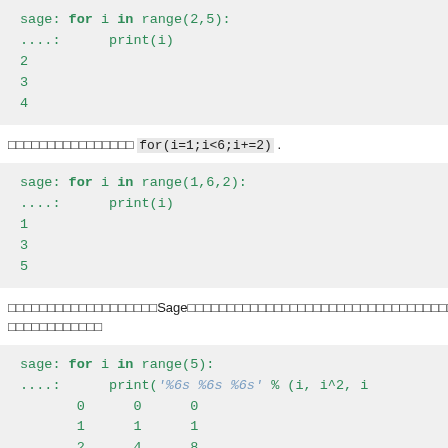[Figure (screenshot): Code block showing sage for loop over range(2,5) with print(i), output: 2, 3, 4]
□□□□□□□□□□□□□□□□ for(i=1;i<6;i+=2) .
[Figure (screenshot): Code block showing sage for loop over range(1,6,2) with print(i), output: 1, 3, 5]
□□□□□□□□□□□□□□□□□□□Sage□□□□□□□□□□□□□□□□□□□□□□□□□□□□□□□□□□□□□□□□6□□□□□□□□□□□□
[Figure (screenshot): Code block showing sage for loop over range(5) with print('%6s %6s %6s' % (i, i^2, i), output rows starting 0 0 0, 1 1 1, 2 4 8...]